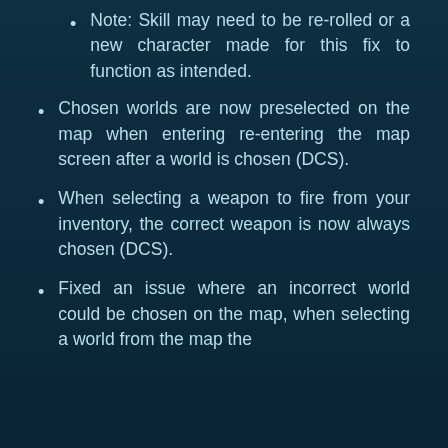Note: Skill may need to be re-rolled or a new character made for this fix to function as intended.
Chosen worlds are now preselected on the map when entering re-entering the map screen after a world is chosen (DCS).
When selecting a weapon to fire from your inventory, the correct weapon is now always chosen (DCS).
Fixed an issue where an incorrect world could be chosen on the map, when selecting a world from the map the